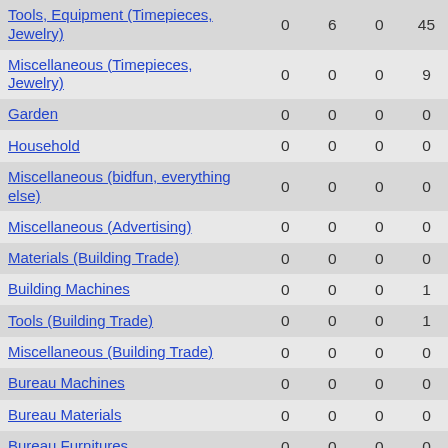| Category | Col1 | Col2 | Col3 | Col4 |
| --- | --- | --- | --- | --- |
| Tools, Equipment (Timepieces, Jewelry) | 0 | 6 | 0 | 45 |
| Miscellaneous (Timepieces, Jewelry) | 0 | 0 | 0 | 9 |
| Garden | 0 | 0 | 0 | 0 |
| Household | 0 | 0 | 0 | 0 |
| Miscellaneous (bidfun, everything else) | 0 | 0 | 0 | 0 |
| Miscellaneous (Advertising) | 0 | 0 | 0 | 0 |
| Materials (Building Trade) | 0 | 0 | 0 | 0 |
| Building Machines | 0 | 0 | 0 | 1 |
| Tools (Building Trade) | 0 | 0 | 0 | 1 |
| Miscellaneous (Building Trade) | 0 | 0 | 0 | 0 |
| Bureau Machines | 0 | 0 | 0 | 0 |
| Bureau Materials | 0 | 0 | 0 | 0 |
| Bureau Furnitures | 0 | 0 | 0 | 0 |
| Miscellaneous (Bureau) | 0 | 0 | 0 | 0 |
| Manufacturing Equipment (Electronics) | 0 | 0 | 0 | 0 |
| Components, Materials (Electronics) | 0 | 0 | 0 | 21 |
| Measuring Equipment |  |  |  |  |